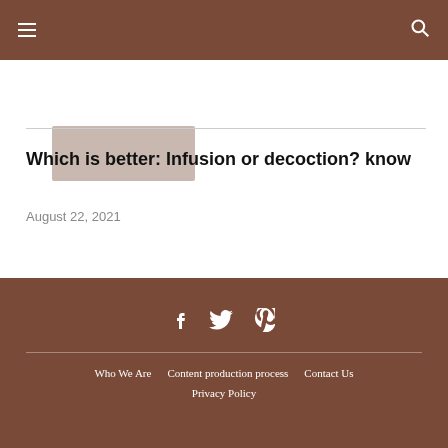Navigation header with hamburger menu and search icon
[Figure (photo): Placeholder image rectangle]
Which is better: Infusion or decoction? know
August 22, 2021
Social icons: Facebook, Twitter, Pinterest. Links: Who We Are | Content production process | Contact Us | Privacy Policy